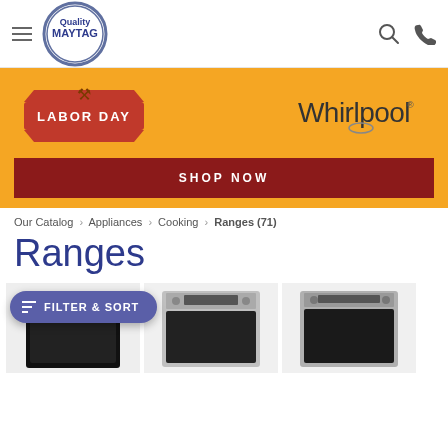[Figure (logo): Quality Maytag oval logo with blue text]
[Figure (infographic): Labor Day sale banner with Whirlpool logo on orange background with SHOP NOW button]
Our Catalog › Appliances › Cooking › Ranges (71)
Ranges
[Figure (photo): Product grid showing three ranges/stoves, partially visible, with Filter & Sort button overlay]